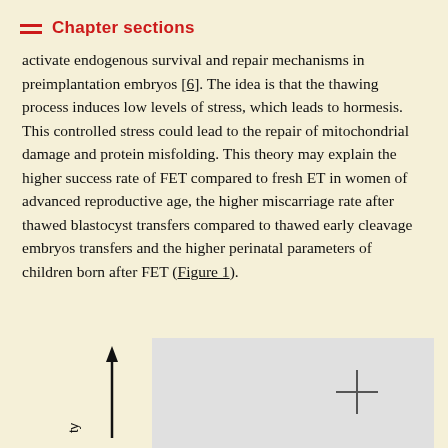Chapter sections
activate endogenous survival and repair mechanisms in preimplantation embryos [6]. The idea is that the thawing process induces low levels of stress, which leads to hormesis. This controlled stress could lead to the repair of mitochondrial damage and protein misfolding. This theory may explain the higher success rate of FET compared to fresh ET in women of advanced reproductive age, the higher miscarriage rate after thawed blastocyst transfers compared to thawed early cleavage embryos transfers and the higher perinatal parameters of children born after FET (Figure 1).
[Figure (other): Partial view of a figure (Figure 1) showing axes with an upward arrow on the y-axis and a crosshair/plus marker, set against a light gray background. The figure is cropped at the bottom of the page.]